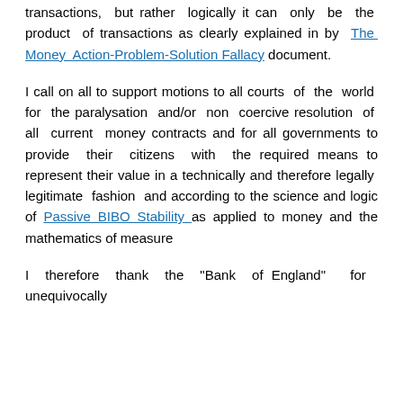transactions, but rather logically it can only be the product of transactions as clearly explained in by The Money Action-Problem-Solution Fallacy document.
I call on all to support motions to all courts of the world for the paralysation and/or non coercive resolution of all current money contracts and for all governments to provide their citizens with the required means to represent their value in a technically and therefore legally legitimate fashion and according to the science and logic of Passive BIBO Stability as applied to money and the mathematics of measure
I therefore thank the "Bank of England" for unequivocally